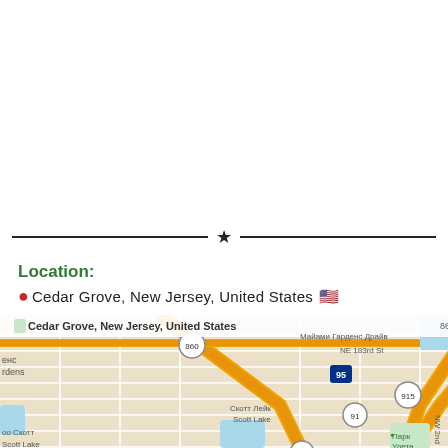Location:
Cedar Grove, New Jersey, United States 🇺🇸
[Figure (map): Google Maps view showing Cedar Grove, New Jersey, United States area with roads, highways including 860, 91, 826, 7, I-95, 915, and labels in Russian and English including Майами Гарденс Драйв, NE 183rd St, Скотт Лейк/Scott Lake, Парк Улета/Uleta Park, NW 2nd]